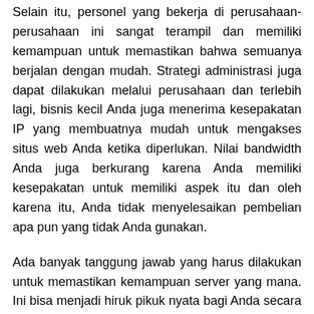Selain itu, personel yang bekerja di perusahaan-perusahaan ini sangat terampil dan memiliki kemampuan untuk memastikan bahwa semuanya berjalan dengan mudah. Strategi administrasi juga dapat dilakukan melalui perusahaan dan terlebih lagi, bisnis kecil Anda juga menerima kesepakatan IP yang membuatnya mudah untuk mengakses situs web Anda ketika diperlukan. Nilai bandwidth Anda juga berkurang karena Anda memiliki kesepakatan untuk memiliki aspek itu dan oleh karena itu, Anda tidak menyelesaikan pembelian apa pun yang tidak Anda gunakan.
Ada banyak tanggung jawab yang harus dilakukan untuk memastikan kemampuan server yang mana. Ini bisa menjadi hiruk pikuk nyata bagi Anda secara pribadi tetapi dengan tetapi dengan colocation server, masing-masing masalah ini ditangani. Itu karena mereka membutuhkan waktu untuk menangani kebutuhan Anda dan setiap episode